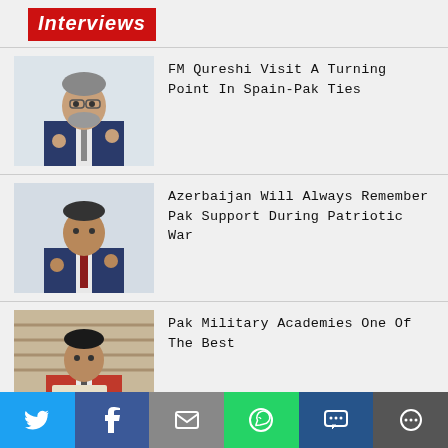Interviews
FM Qureshi Visit A Turning Point In Spain-Pak Ties
Azerbaijan Will Always Remember Pak Support During Patriotic War
Pak Military Academies One Of The Best
ADAM TUGIO: Indonesia, Pakistan Ties Poised For A Quantum Leap